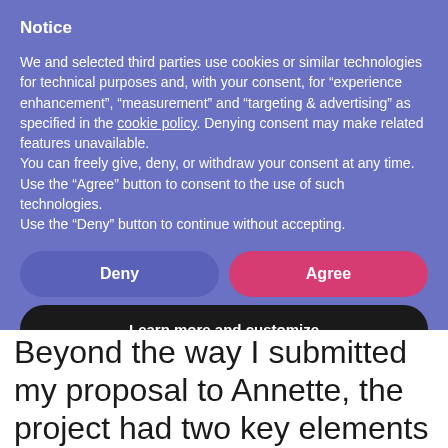Notice
We and selected third parties use cookies or similar technologies for technical purposes and, with your consent, for “experience enhancement”, “measurement” and “targeting & advertising” as specified in the cookie policy. Denying consent may make related features unavailable.
You can freely give, deny, or withdraw your consent at any time.
Use the “Agree” button to consent to the use of such technologies.
Use the “Deny” button to continue without accepting.
Deny
Agree
Learn more and customize
Beyond the way I submitted my proposal to Annette, the project had two key elements that I later discovered were